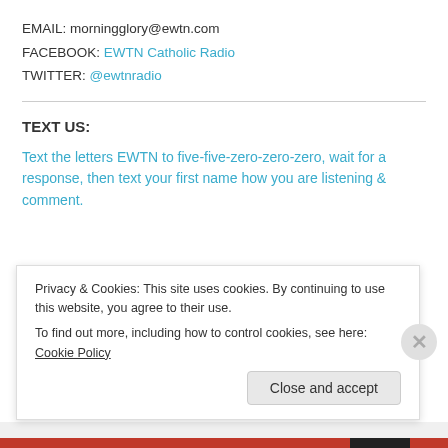EMAIL: morningglory@ewtn.com
FACEBOOK: EWTN Catholic Radio
TWITTER: @ewtnradio
TEXT US:
Text the letters EWTN to five-five-zero-zero-zero, wait for a response, then text your first name how you are listening & comment.
DISCLAIMER: EWTN RADIO TEXTING
Our mobile text messages are intended for subscribers over the age of 13 and are delivered via USA short code 55000 and 76000. You may receive up to 4 message(s) per month for text alerts. Message and
Privacy & Cookies: This site uses cookies. By continuing to use this website, you agree to their use.
To find out more, including how to control cookies, see here: Cookie Policy
Close and accept